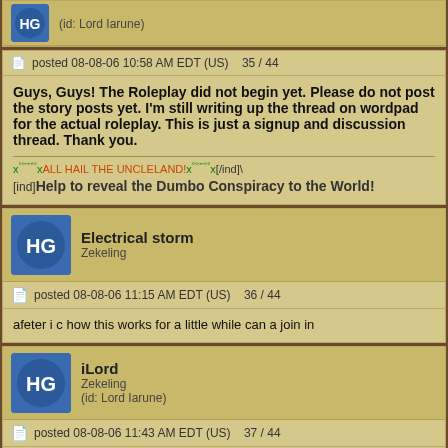(id: Lord Iarune)
posted 08-08-06 10:58 AM EDT (US)   35 / 44
Guys, Guys! The Roleplay did not begin yet. Please do not post the story posts yet. I'm still writing up the thread on wordpad for the actual roleplay. This is just a signup and discussion thread. Thank you.
x°°""°°xALL HAIL THE UNCLELAND!x°°""°°x[/ind]\ [ind]Help to reveal the Dumbo Conspiracy to the World!
Electrical storm
Zekeling
posted 08-08-06 11:15 AM EDT (US)   36 / 44
afeter i c how this works for a little while can a join in
iLord
Zekeling
(id: Lord Iarune)
posted 08-08-06 11:43 AM EDT (US)   37 / 44
Yes
x°°""°°xALL HAIL THE UNCLELAND!x°°""°°x[/ind]\ [ind]Help to reveal the Dumbo Conspiracy to the World!